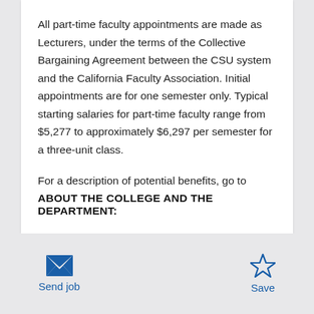All part-time faculty appointments are made as Lecturers, under the terms of the Collective Bargaining Agreement between the CSU system and the California Faculty Association. Initial appointments are for one semester only. Typical starting salaries for part-time faculty range from $5,277 to approximately $6,297 per semester for a three-unit class.
For a description of potential benefits, go to
ABOUT THE COLLEGE AND THE DEPARTMENT: